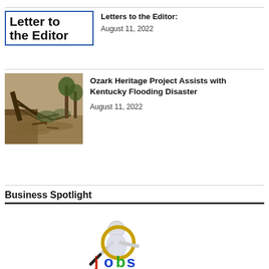Letter to the Editor
Letters to the Editor:
August 11, 2022
[Figure (photo): Flood scene with fallen trees and debris over muddy water]
Ozark Heritage Project Assists with Kentucky Flooding Disaster
August 11, 2022
Business Spotlight
[Figure (illustration): 3D figure of a person holding a magnifying glass over colorful letters spelling 'jobs']